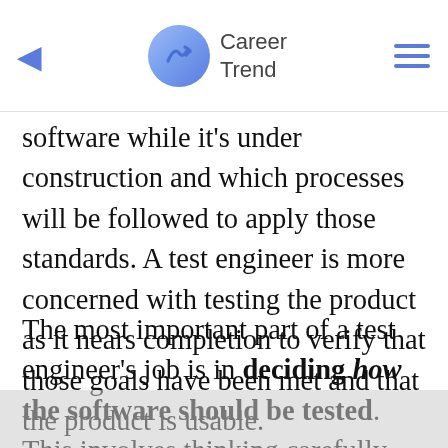Career Trend
software while it's under construction and which processes will be followed to apply those standards. A test engineer is more concerned with testing the product as it nears completion to verify that those goals have been met and that the product is usable.
The most important part of a test engineer's job is in deciding how the software should be tested. This involves thinking carefully about how users will work with the product and what their expectations of the product will be. Then, the engineer creates a test plan that lays out in detail how the product can or should be tested. This process revolves around